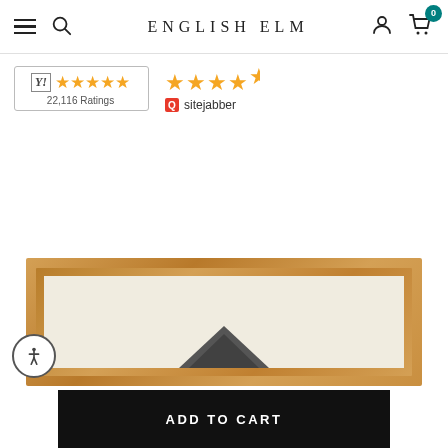ENGLISH ELM
[Figure (logo): English Elm e-commerce website header with hamburger menu, search icon, logo text 'ENGLISH ELM', user account icon, and shopping cart icon with badge showing 0]
[Figure (infographic): Reseller Ratings badge showing 5 gold stars and 22,116 Ratings, plus Sitejabber rating showing 4.5 gold stars with sitejabber logo]
[Figure (photo): Partial product photo: a framed artwork in a gold/warm wood tone frame with a cream/beige mat, showing a dark triangular shape (possibly an animal ear or hat) at the bottom of the visible portion]
ADD TO CART